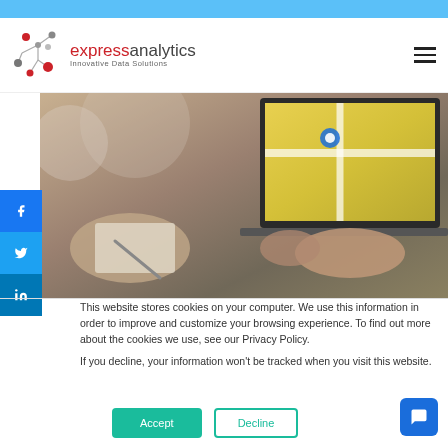[Figure (logo): Express Analytics logo with network node graphic and text 'expressanalytics - Innovative Data Solutions']
[Figure (photo): Person working on laptop showing a map, with another person writing notes beside them]
[Figure (infographic): Social media sidebar buttons for Facebook, Twitter, and LinkedIn]
This website stores cookies on your computer. We use this information in order to improve and customize your browsing experience. To find out more about the cookies we use, see our Privacy Policy.
If you decline, your information won't be tracked when you visit this website.
[Figure (infographic): Accept button (teal/green filled) and Decline button (teal outline) for cookie consent]